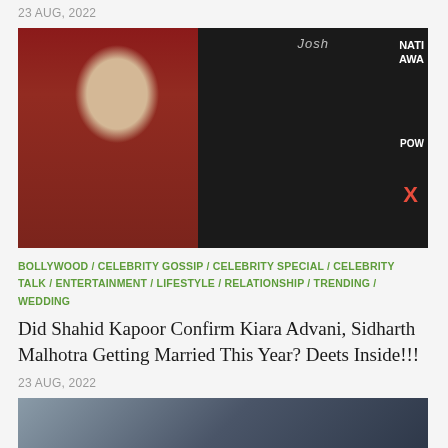23 AUG, 2022
[Figure (photo): Split image: left side shows a man in white jacket against red background; right side shows a woman in yellow/orange saree and man in black suit at what appears to be a National Awards event with Josh branding]
BOLLYWOOD / CELEBRITY GOSSIP / CELEBRITY SPECIAL / CELEBRITY TALK / ENTERTAINMENT / LIFESTYLE / RELATIONSHIP / TRENDING / WEDDING
Did Shahid Kapoor Confirm Kiara Advani, Sidharth Malhotra Getting Married This Year? Deets Inside!!!
23 AUG, 2022
[Figure (photo): Partial view of another article's thumbnail image showing people]